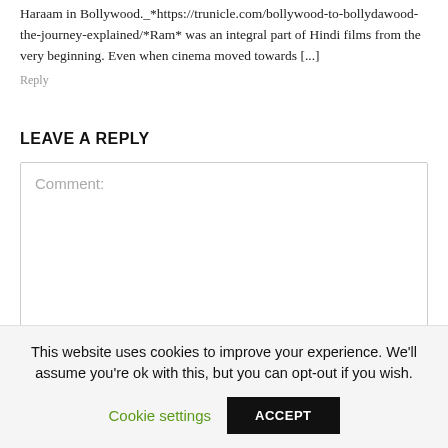Haraam in Bollywood._*https://trunicle.com/bollywood-to-bollydawood-the-journey-explained/*Ram* was an integral part of Hindi films from the very beginning. Even when cinema moved towards [...]
Reply
LEAVE A REPLY
Comment:
This website uses cookies to improve your experience. We'll assume you're ok with this, but you can opt-out if you wish.
Cookie settings
ACCEPT